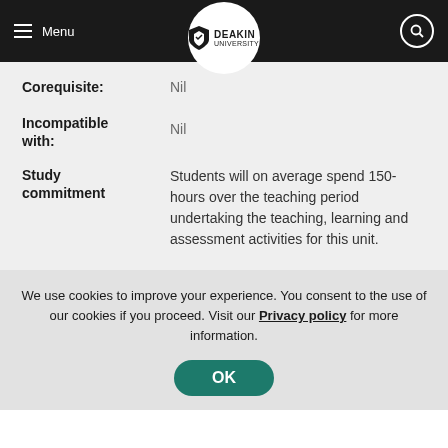Deakin University — Menu / Header
Corequisite: Nil
Incompatible with: Nil
Study commitment: Students will on average spend 150-hours over the teaching period undertaking the teaching, learning and assessment activities for this unit.
We use cookies to improve your experience. You consent to the use of our cookies if you proceed. Visit our Privacy policy for more information.